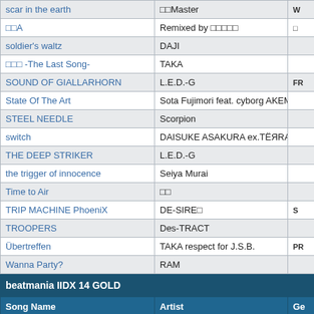| Song Name | Artist | Ge |
| --- | --- | --- |
| scar in the earth | □□Master | W |
| □□A | Remixed by □□□□□ | □ |
| soldier's waltz | DAJI |  |
| □□□ -The Last Song- | TAKA |  |
| SOUND OF GIALLARHORN | L.E.D.-G | FR |
| State Of The Art | Sota Fujimori feat. cyborg AKEMI |  |
| STEEL NEEDLE | Scorpion |  |
| switch | DAISUKE ASAKURA ex.TËЯRA |  |
| THE DEEP STRIKER | L.E.D.-G |  |
| the trigger of innocence | Seiya Murai |  |
| Time to Air | □□ |  |
| TRIP MACHINE PhoeniX | DE-SIRE□ | S |
| TROOPERS | Des-TRACT |  |
| Übertreffen | TAKA respect for J.S.B. | PR |
| Wanna Party? | RAM |  |
beatmania IIDX 14 GOLD
| Song Name | Artist | Ge |
| --- | --- | --- |
| 2hot2eat | Osamu Kubota |  |
| Air Bell | D-crew |  |